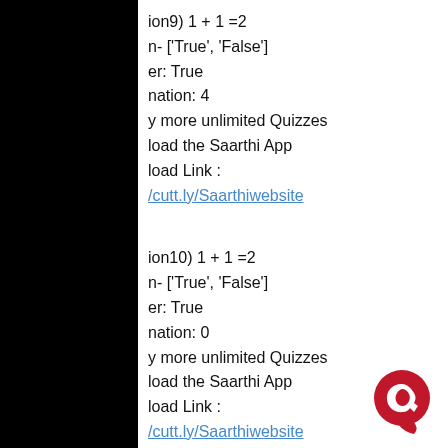ion9)  1 + 1 =2
n- ['True', 'False']
er:  True
nation: 4
y more unlimited Quizzes
load the Saarthi App
load Link :
/cutt.ly/Saarthiwebsite
ion10)  1 + 1 =2
n- ['True', 'False']
er:  True
nation: 0
y more unlimited Quizzes
load the Saarthi App
load Link :
/cutt.ly/Saarthiwebsite
[Figure (logo): Saarthi app logo - red circular icon with a stylized letter Q]